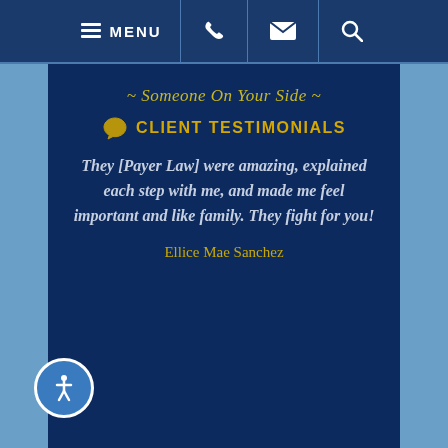MENU [phone] [email] [search]
~ Someone On Your Side ~
CLIENT TESTIMONIALS
They [Payer Law] were amazing, explained each step with me, and made me feel important and like family. They fight for you!
Ellice Mae Sanchez